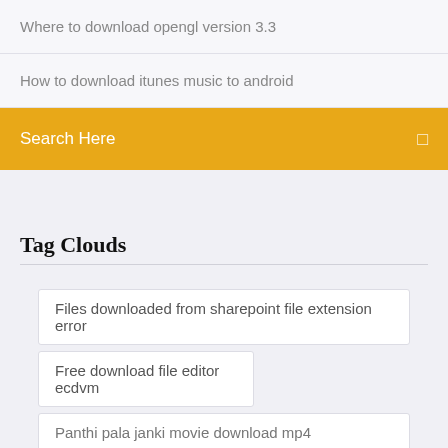Where to download opengl version 3.3
How to download itunes music to android
Search Here
Tag Clouds
Files downloaded from sharepoint file extension error
Free download file editor ecdvm
Panthi pala janki movie download mp4